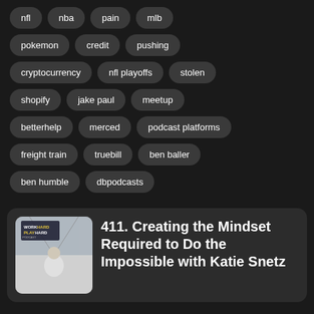nfl
nba
pain
mlb
pokemon
credit
pushing
cryptocurrency
nfl playoffs
stolen
shopify
jake paul
meetup
betterhelp
merced
podcast platforms
freight train
truebill
ben baller
ben humble
dbpodcasts
[Figure (screenshot): Work Hard Play Hard podcast cover art showing a man in white shirt with bridge in background]
411. Creating the Mindset Required to Do the Impossible with Katie Snetz